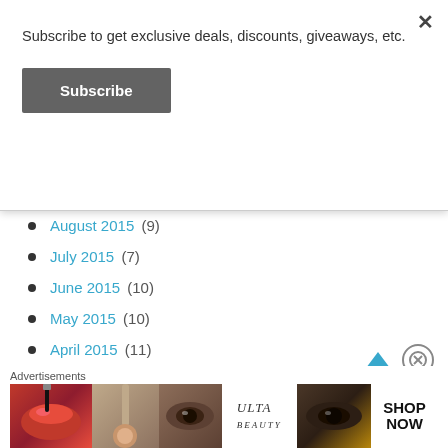Subscribe to get exclusive deals, discounts, giveaways, etc.
Subscribe
August 2015 (9)
July 2015 (7)
June 2015 (10)
May 2015 (10)
April 2015 (11)
March 2015 (10)
February 2015 (6)
January 2015 (6)
Advertisements
[Figure (illustration): ULTA Beauty advertisement banner with makeup imagery and SHOP NOW call to action]